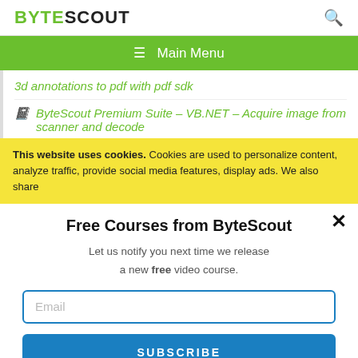BYTESCOUT [search icon]
≡  Main Menu
3d annotations to pdf with pdf sdk
ByteScout Premium Suite – VB.NET – Acquire image from scanner and decode
This website uses cookies. Cookies are used to personalize content, analyze traffic, provide social media features, display ads. We also share
Free Courses from ByteScout
Let us notify you next time we release a new free video course.
Email
SUBSCRIBE